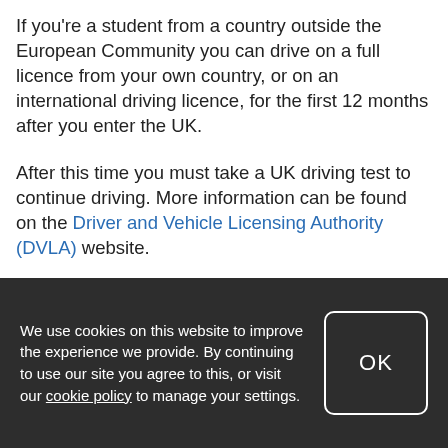If you're a student from a country outside the European Community you can drive on a full licence from your own country, or on an international driving licence, for the first 12 months after you enter the UK.
After this time you must take a UK driving test to continue driving. More information can be found on the Driver and Vehicle Licensing Authority (DVLA) website.
If you hold a licence from a designated country you can apply to exchange this for a UK licence. You must also have motor insurance that covers you for any vehicle you plan on driving. Any vehicle you drive must also be registered to the owner, have valid road tax and a current
We use cookies on this website to improve the experience we provide. By continuing to use our site you agree to this, or visit our cookie policy to manage your settings.